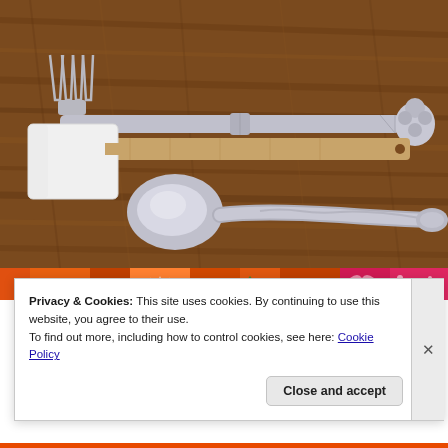[Figure (photo): A photograph of three kitchen utensils laid on a wooden table: a decorative silver fork with ornate handle at top, a white rubber spatula with a wooden handle in the middle, and a silver spoon with patterned handle at the bottom.]
[Figure (photo): Partial view of a colorful patterned strip with orange, pink/magenta colors and various small icons/graphics.]
Privacy & Cookies: This site uses cookies. By continuing to use this website, you agree to their use.
To find out more, including how to control cookies, see here: Cookie Policy